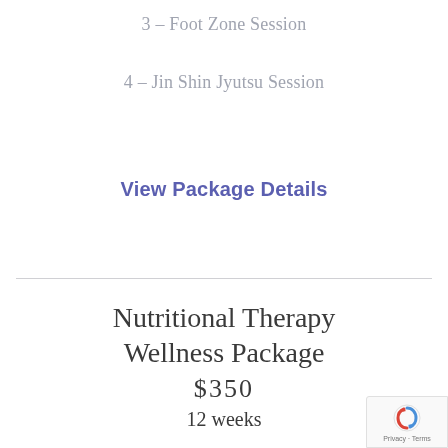3 – Foot Zone Session
4 – Jin Shin Jyutsu Session
View Package Details
Nutritional Therapy Wellness Package
$350
12 weeks